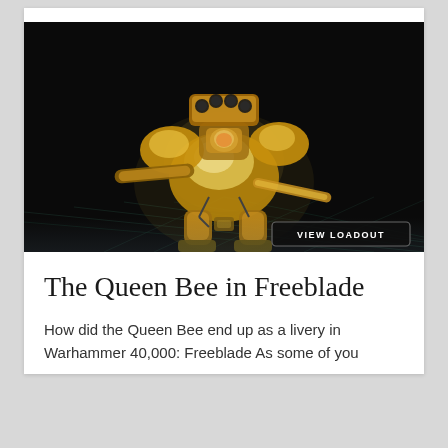[Figure (photo): A large golden mechanized walker (Imperial Knight) from Warhammer 40,000: Freeblade game, decorated in yellow and gold armor with a missile launcher on top, standing on a tiled floor in a dark environment. A 'VIEW LOADOUT' button overlay appears in the bottom right of the image.]
The Queen Bee in Freeblade
How did the Queen Bee end up as a livery in Warhammer 40,000: Freeblade As some of you